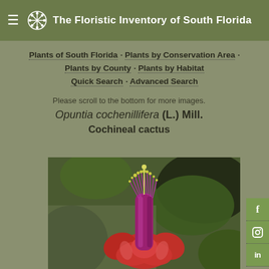The Floristic Inventory of South Florida
Plants of South Florida · Plants by Conservation Area · Plants by County · Plants by Habitat · Quick Search · Advanced Search
Please scroll to the bottom for more images.
Opuntia cochenillifera (L.) Mill.
Cochineal cactus
[Figure (photo): Close-up photograph of an Opuntia cochenillifera (Cochineal cactus) flower, showing pink/red petals and purple-pink stamens with yellow tips, against a blurred green background.]